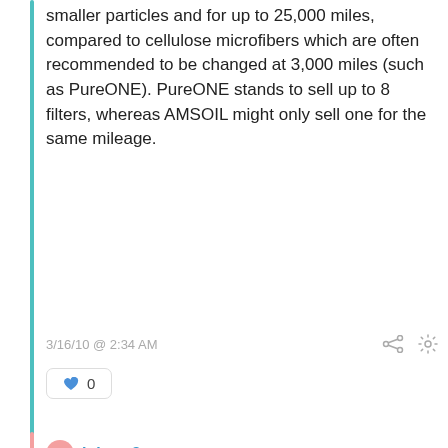smaller particles and for up to 25,000 miles, compared to cellulose microfibers which are often recommended to be changed at 3,000 miles (such as PureONE). PureONE stands to sell up to 8 filters, whereas AMSOIL might only sell one for the same mileage.
3/16/10 @ 2:34 AM
0
johnpr3
"Yes, you seem to be confused. Look at the much smaller diameter, closer together nanofibers, compared to the much larger wide spread microfibers in the second photograph. The nanofibers would clearly filter smaller and more particles, yet allow more flow than the microfibers.